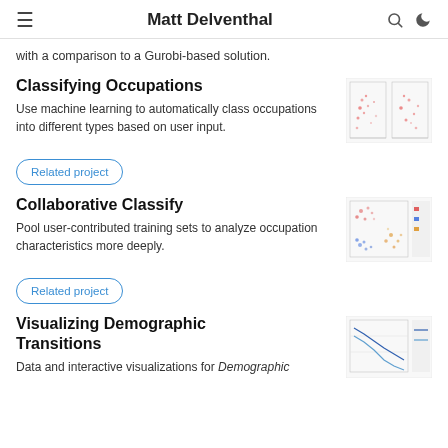Matt Delventhal
with a comparison to a Gurobi-based solution.
Classifying Occupations
Use machine learning to automatically class occupations into different types based on user input.
[Figure (other): Scatter plot / histogram visualization thumbnail for Classifying Occupations]
Related project
Collaborative Classify
Pool user-contributed training sets to analyze occupation characteristics more deeply.
[Figure (scatter-plot): Scatter plot visualization thumbnail for Collaborative Classify with colored clusters]
Related project
Visualizing Demographic Transitions
Data and interactive visualizations for Demographic
[Figure (line-chart): Line chart thumbnail for Visualizing Demographic Transitions]